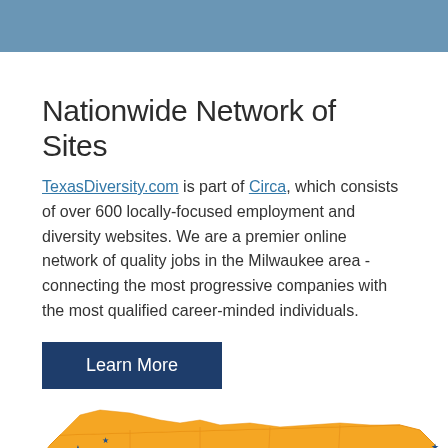Nationwide Network of Sites
TexasDiversity.com is part of Circa, which consists of over 600 locally-focused employment and diversity websites. We are a premier online network of quality jobs in the Milwaukee area - connecting the most progressive companies with the most qualified career-minded individuals.
Learn More
[Figure (map): Map of the United States showing orange-shaded states with blue star markers indicating locally-focused employment and diversity website locations across the country, with higher density visible in the eastern United States.]